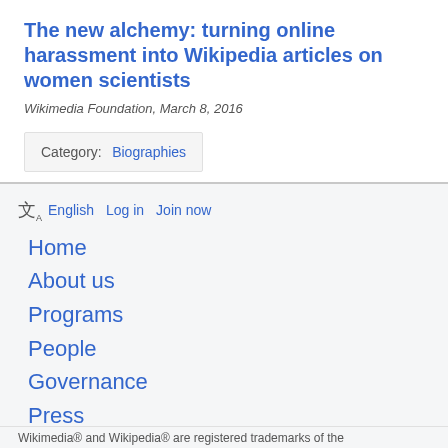The new alchemy: turning online harassment into Wikipedia articles on women scientists
Wikimedia Foundation, March 8, 2016
Category:  Biographies
English  Log in  Join now
Home
About us
Programs
People
Governance
Press
Contact us
Join or donate
Wikimedia® and Wikipedia® are registered trademarks of the